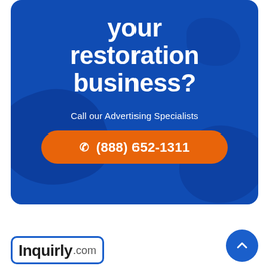your restoration business?
Call our Advertising Specialists
(888) 652-1311
[Figure (logo): Inquirly.com logo with blue rounded square border]
[Figure (illustration): Blue circular scroll-to-top button with upward chevron arrow]